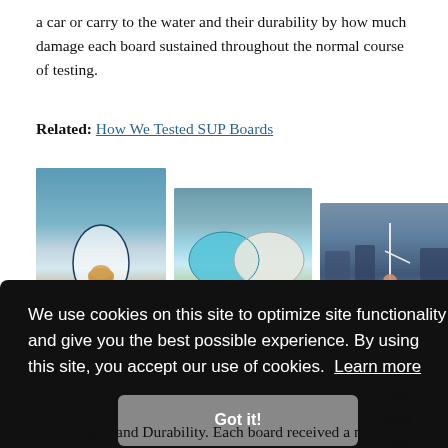a car or carry to the water and their durability by how much damage each board sustained throughout the normal course of testing.
Related: How We Tested SUP Boards
[Figure (photo): Three photos side by side: first shows a person lying on a SUP board on a lake with a cat, second shows two SUP boards (blue and white) lying nose-to-nose on grass, third shows a person standing on a SUP board in a marina.]
We use cookies on this site to optimize site functionality and give you the best possible experience. By using this site, you accept our use of cookies. Learn more
Got it!
l tests ating , Ease
of Transport and Durability. Each board received a number of